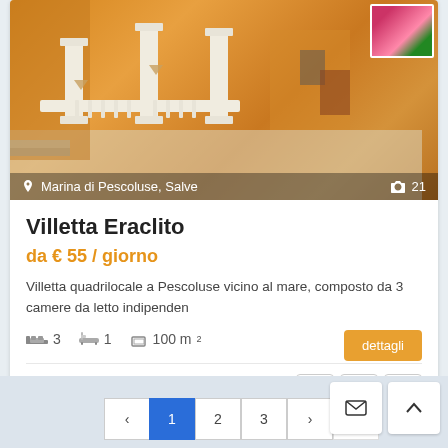[Figure (photo): Exterior photo of Villetta Eraclito showing orange/terracotta colored building with white decorative pillars and balustrade, courtyard area. Location overlay: Marina di Pescoluse, Salve. Photo count: 21.]
Villetta Eraclito
da € 55 / giorno
Villetta quadrilocale a Pescoluse vicino al mare, composto da 3 camere da letto indipenden
3  1  100 m²
Salento Villas
1  2  3